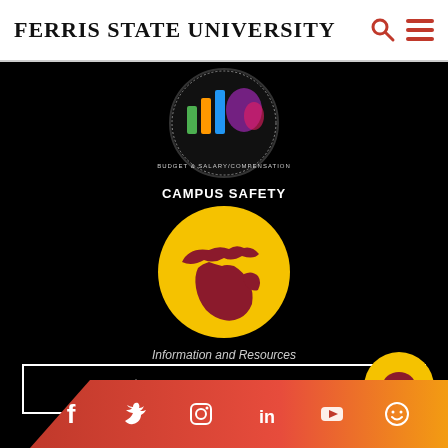Ferris State University
[Figure (logo): Budget & Salary/Compensation circular logo with colorful bar chart and Michigan silhouette]
CAMPUS SAFETY
[Figure (logo): Campus Safety Information and Resources logo: yellow circle with red Michigan state silhouette]
Information and Resources
[Figure (other): Support Ferris button with gift icon and white border]
[Figure (other): Yellow chat bubble icon]
[Figure (other): Social media icons bar: Facebook, Twitter, Instagram, LinkedIn, YouTube, Glassdoor on red-to-gold gradient background]